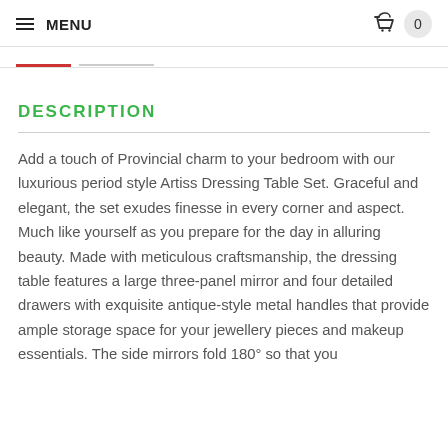MENU  0
DESCRIPTION
Add a touch of Provincial charm to your bedroom with our luxurious period style Artiss Dressing Table Set. Graceful and elegant, the set exudes finesse in every corner and aspect. Much like yourself as you prepare for the day in alluring beauty. Made with meticulous craftsmanship, the dressing table features a large three-panel mirror and four detailed drawers with exquisite antique-style metal handles that provide ample storage space for your jewellery pieces and makeup essentials. The side mirrors fold 180° so that you